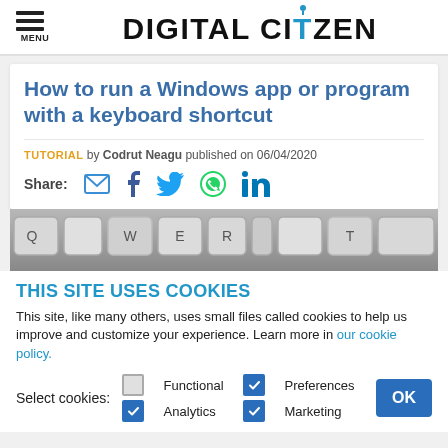MENU | DIGITAL CITIZEN
How to run a Windows app or program with a keyboard shortcut
TUTORIAL by Codrut Neagu published on 06/04/2020
Share:
[Figure (photo): Close-up photograph of a keyboard showing keys including Q, W, E, R, T]
THIS SITE USES COOKIES
This site, like many others, uses small files called cookies to help us improve and customize your experience. Learn more in our cookie policy.
Select cookies: Functional (unchecked), Preferences (checked), Analytics (checked), Marketing (checked)